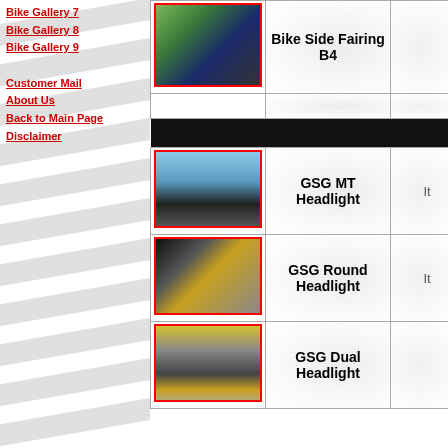Bike Gallery 7
Bike Gallery 8
Bike Gallery 9
Customer Mail
About Us
Back to Main Page
Disclaimer
| Photo | Product Name | Info |
| --- | --- | --- |
| [bike photo] | Bike Side Fairing B4 |  |
|  |  |  |
| [black bar] |  |  |
| [bike photo] | GSG MT Headlight | It |
| [bike photo] | GSG Round Headlight | It |
| [bike photo] | GSG Dual Headlight |  |